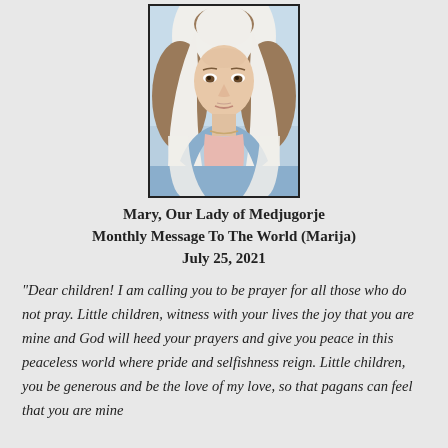[Figure (illustration): Painting of Mary, Our Lady of Medjugorje — a woman with light brown hair, wearing a white veil and light blue robe, light pink top, with a soft serene expression, set against a light blue background.]
Mary, Our Lady of Medjugorje
Monthly Message To The World (Marija)
July 25, 2021
"Dear children! I am calling you to be prayer for all those who do not pray. Little children, witness with your lives the joy that you are mine and God will heed your prayers and give you peace in this peaceless world where pride and selfishness reign. Little children, you be generous and be the love of my love, so that pagans can feel that you are mine